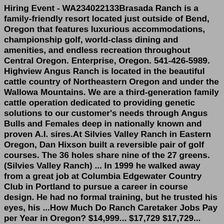Hiring Event - WA234022133Brasada Ranch is a family-friendly resort located just outside of Bend, Oregon that features luxurious accommodations, championship golf, world-class dining and amenities, and endless recreation throughout Central Oregon. Enterprise, Oregon. 541-426-5989. Highview Angus Ranch is located in the beautiful cattle country of Northeastern Oregon and under the Wallowa Mountains. We are a third-generation family cattle operation dedicated to providing genetic solutions to our customer's needs through Angus Bulls and Females deep in nationally known and proven A.I. sires.At Silvies Valley Ranch in Eastern Oregon, Dan Hixson built a reversible pair of golf courses. The 36 holes share nine of the 27 greens. (Silvies Valley Ranch) ... In 1999 he walked away from a great job at Columbia Edgewater Country Club in Portland to pursue a career in course design. He had no formal training, but he trusted his eyes, his ...How Much Do Ranch Caretaker Jobs Pay per Year in Oregon? $14,999... $17,729 $17,729... $21,199 $21,199... $24,627